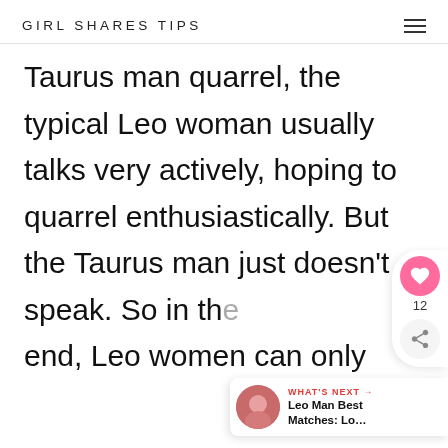GIRL SHARES TIPS
Taurus man quarrel, the typical Leo woman usually talks very actively, hoping to quarrel enthusiastically. But the Taurus man just doesn't speak. So in the end, Leo women can only